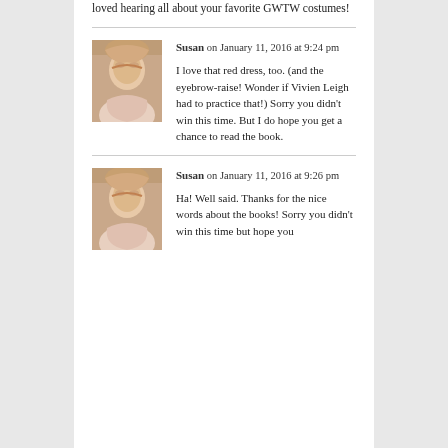loved hearing all about your favorite GWTW costumes!
Susan on January 11, 2016 at 9:24 pm
I love that red dress, too. (and the eyebrow-raise! Wonder if Vivien Leigh had to practice that!) Sorry you didn't win this time. But I do hope you get a chance to read the book.
Susan on January 11, 2016 at 9:26 pm
Ha! Well said. Thanks for the nice words about the books! Sorry you didn't win this time but hope you